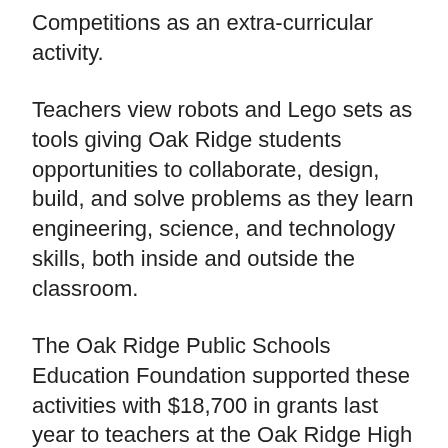Competitions as an extra-curricular activity.
Teachers view robots and Lego sets as tools giving Oak Ridge students opportunities to collaborate, design, build, and solve problems as they learn engineering, science, and technology skills, both inside and outside the classroom.
The Oak Ridge Public Schools Education Foundation supported these activities with $18,700 in grants last year to teachers at the Oak Ridge High School, Jefferson and Robertsville middle schools, and Linden Elementary School. The grants included a UT-Battelle donation of $10,000 directed to FIRST Robotics Competition, FIRST Tech Challenge, and FIRST